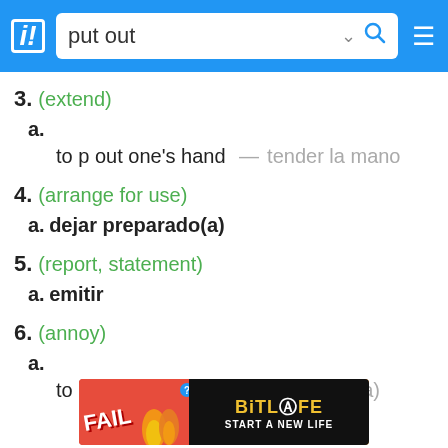put out
3. (extend)
a.
to p out one's hand — tender la mano
4. (arrange for use)
a. dejar preparado(a)
5. (report, statement)
a. emitir
6. (annoy)
a.
to be put out — estar disgustado(a)
🌟 Browse faster in the app!
[Figure (photo): BitLife advertisement banner with FAIL text and Start a New Life slogan]